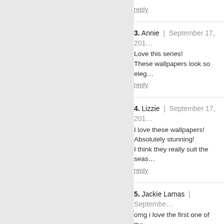reply
3. Annie | September 17, 201...
Love this series!
These wallpapers look so eleg...
reply
4. Lizzie | September 17, 201...
I love these wallpapers!
Absolutely stunning!
I think they really suit the seas...
reply
5. Jackie Lamas | September...
omg i love the first one of the...
reply
6. Moonlight | September 20...
what about no 8?
reply
7. Elena | September 20, 201...
Bri i love your wallpapers! You...
reply
8. Carrie Wing | October 8, 2...
I know you said these were ok...
not-for-profit church? In our e...